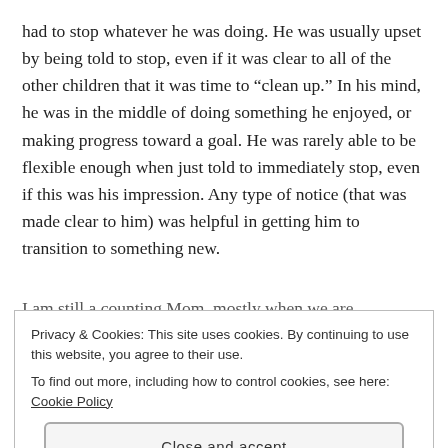had to stop whatever he was doing. He was usually upset by being told to stop, even if it was clear to all of the other children that it was time to “clean up.” In his mind, he was in the middle of doing something he enjoyed, or making progress toward a goal. He was rarely able to be flexible enough when just told to immediately stop, even if this was his impression. Any type of notice (that was made clear to him) was helpful in getting him to transition to something new.
I am still a counting Mom, mostly when we are
Privacy & Cookies: This site uses cookies. By continuing to use this website, you agree to their use.
To find out more, including how to control cookies, see here: Cookie Policy
Close and accept
Posted in The Way We See It